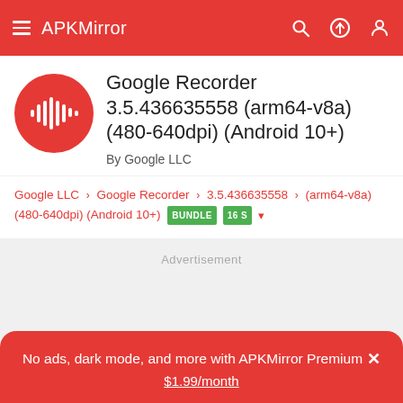APKMirror
Google Recorder 3.5.436635558 (arm64-v8a) (480-640dpi) (Android 10+)
By Google LLC
Google LLC > Google Recorder > 3.5.436635558 > (arm64-v8a) (480-640dpi) (Android 10+) BUNDLE 16 S
Advertisement
No ads, dark mode, and more with APKMirror Premium × $1.99/month